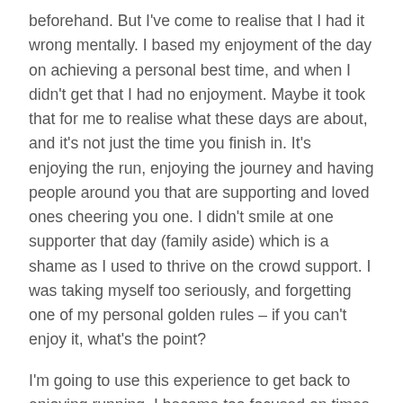beforehand. But I've come to realise that I had it wrong mentally. I based my enjoyment of the day on achieving a personal best time, and when I didn't get that I had no enjoyment. Maybe it took that for me to realise what these days are about, and it's not just the time you finish in. It's enjoying the run, enjoying the journey and having people around you that are supporting and loved ones cheering you one. I didn't smile at one supporter that day (family aside) which is a shame as I used to thrive on the crowd support. I was taking myself too seriously, and forgetting one of my personal golden rules – if you can't enjoy it, what's the point?
I'm going to use this experience to get back to enjoying running. I became too focused on times and even on getting medals from races. I didn't want to run far in training because it didn't feel like there was any point if I didn't get a medal from it. That's totally wrong. The experience is the reward, and so I'm going to take my running back to basics – enjoy going on a training run